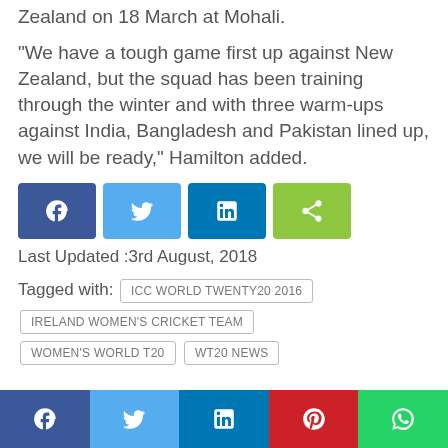Zealand on 18 March at Mohali.
“We have a tough game first up against New Zealand, but the squad has been training through the winter and with three warm-ups against India, Bangladesh and Pakistan lined up, we will be ready,” Hamilton added.
[Figure (infographic): Social share buttons: Facebook (dark blue), Twitter (light blue), LinkedIn (dark blue), Share (green)]
Last Updated :3rd August, 2018
Tagged with: ICC WORLD TWENTY20 2016 | IRELAND WOMEN'S CRICKET TEAM | WOMEN'S WORLD T20 | WT20 NEWS
[Figure (infographic): Bottom social share bar: Facebook, Twitter, LinkedIn, Pinterest, WhatsApp]